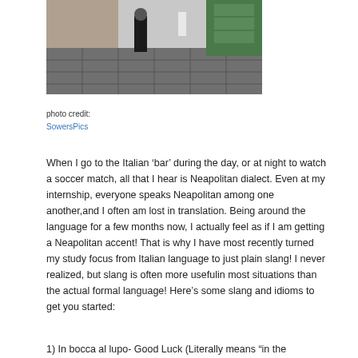[Figure (photo): Street scene in Italy showing a market alley with a person walking, shops on the sides, and tiled stone pavement]
photo credit:
SowersPics
When I go to the Italian ‘bar’ during the day, or at night to watch a soccer match, all that I hear is Neapolitan dialect. Even at my internship, everyone speaks Neapolitan among one another,and I often am lost in translation. Being around the language for a few months now, I actually feel as if I am getting a Neapolitan accent! That is why I have most recently turned my study focus from Italian language to just plain slang! I never realized, but slang is often more usefulin most situations than the actual formal language! Here’s some slang and idioms to get you started:
1) In bocca al lupo- Good Luck (Literally means “in the